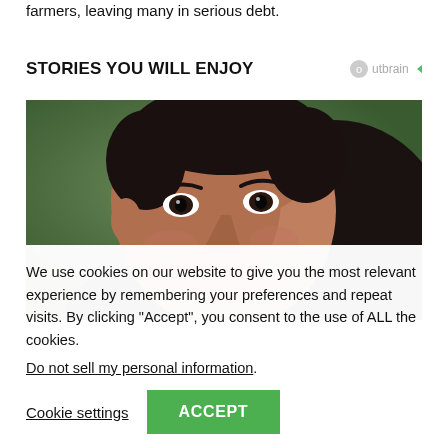farmers, leaving many in serious debt.
STORIES YOU WILL ENJOY
[Figure (photo): Close-up photo of a man smiling, resting his chin on another person's head]
We use cookies on our website to give you the most relevant experience by remembering your preferences and repeat visits. By clicking “Accept”, you consent to the use of ALL the cookies.
Do not sell my personal information.
Cookie settings     ACCEPT